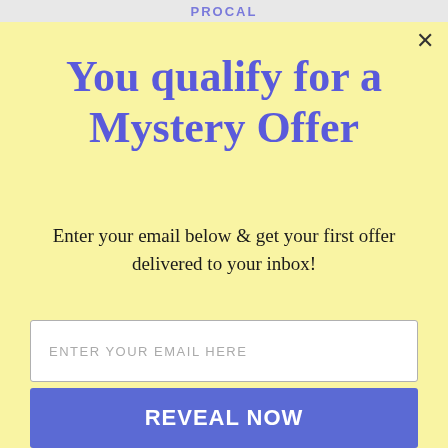PROCAL
You qualify for a Mystery Offer
Enter your email below & get your first offer delivered to your inbox!
ENTER YOUR EMAIL HERE
REVEAL NOW
And we promise not to spam you.